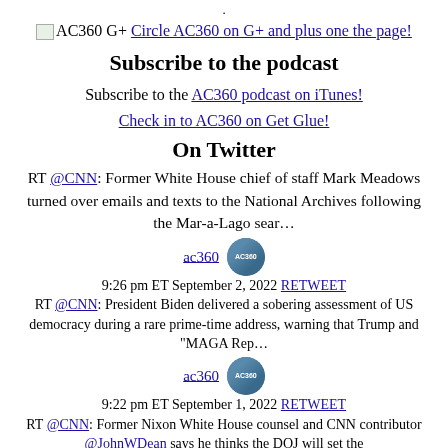.
🖼 AC360 G+ Circle AC360 on G+ and plus one the page!
Subscribe to the podcast
Subscribe to the AC360 podcast on iTunes!
Check in to AC360 on Get Glue!
On Twitter
RT @CNN: Former White House chief of staff Mark Meadows turned over emails and texts to the National Archives following the Mar-a-Lago sear…
ac360  9:26 pm ET September 2, 2022 RETWEET
RT @CNN: President Biden delivered a sobering assessment of US democracy during a rare prime-time address, warning that Trump and "MAGA Rep…
ac360  9:22 pm ET September 1, 2022 RETWEET
RT @CNN: Former Nixon White House counsel and CNN contributor @JohnWDean says he thinks the DOJ will set the